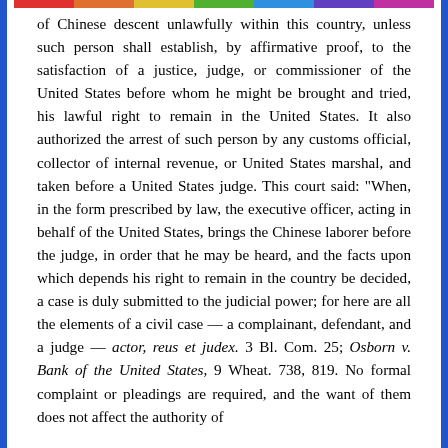of Chinese descent unlawfully within this country, unless such person shall establish, by affirmative proof, to the satisfaction of a justice, judge, or commissioner of the United States before whom he might be brought and tried, his lawful right to remain in the United States. It also authorized the arrest of such person by any customs official, collector of internal revenue, or United States marshal, and taken before a United States judge. This court said: "When, in the form prescribed by law, the executive officer, acting in behalf of the United States, brings the Chinese laborer before the judge, in order that he may be heard, and the facts upon which depends his right to remain in the country be decided, a case is duly submitted to the judicial power; for here are all the elements of a civil case — a complainant, defendant, and a judge — actor, reus et judex. 3 Bl. Com. 25; Osborn v. Bank of the United States, 9 Wheat. 738, 819. No formal complaint or pleadings are required, and the want of them does not affect the authority of